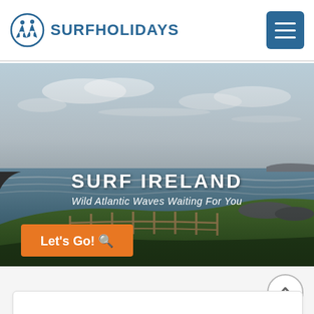[Figure (logo): SurfHolidays logo: circle with two surfer silhouettes in blue, with text SURFHOLIDAYS in blue capital letters]
[Figure (photo): Hero photograph of Irish coastal cliff landscape with green grass, wooden fence, rocky shoreline, ocean waves, and cloudy sky. Overlaid text reads SURF IRELAND and Wild Atlantic Waves Waiting For You, with an orange Let's Go! button.]
SURF IRELAND
Wild Atlantic Waves Waiting For You
Let's Go!